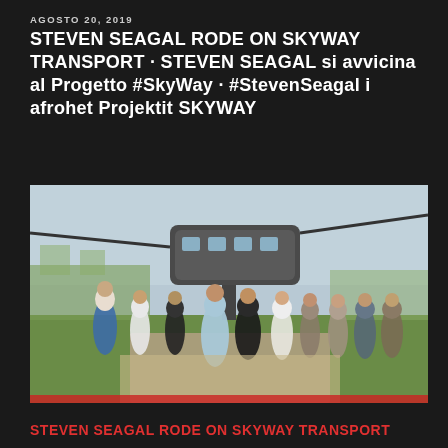AGOSTO 20, 2019
STEVEN SEAGAL RODE ON SKYWAY TRANSPORT · STEVEN SEAGAL si avvicina al Progetto #SkyWay · #StevenSeagal i afrohet Projektit SKYWAY
[Figure (photo): Group of people walking on a path outdoors near a large SkyWay transport vehicle (elevated rail pod on a cable/rail), with green grass and trees in background. Several men and women walking together, one woman in a light blue dress prominent in the center.]
STEVEN SEAGAL RODE ON SKYWAY TRANSPORT